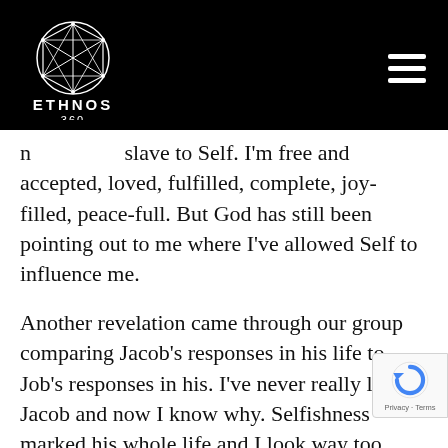ETHNOS 360
n[…] slave to Self. I’m free and accepted, loved, fulfilled, complete, joy-filled, peace-full. But God has still been pointing out to me where I’ve allowed Self to influence me.
Another revelation came through our group comparing Jacob’s responses in his life to Job’s responses in his. I’ve never really liked Jacob and now I know why. Selfishness marked his whole life and I look way too much like him! Jacob mourned and refused to be comforted all for 20 years after the supposed death of his son, Joseph. Is that an incredibly painful and